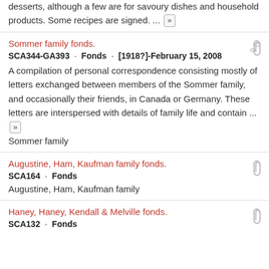desserts, although a few are for savoury dishes and household products. Some recipes are signed. ... »
Sommer family fonds.
SCA344-GA393 · Fonds · [1918?]-February 15, 2008
A compilation of personal correspondence consisting mostly of letters exchanged between members of the Sommer family, and occasionally their friends, in Canada or Germany. These letters are interspersed with details of family life and contain ... »
Sommer family
Augustine, Ham, Kaufman family fonds.
SCA164 · Fonds
Augustine, Ham, Kaufman family
Haney, Haney, Kendall & Melville fonds.
SCA132 · Fonds